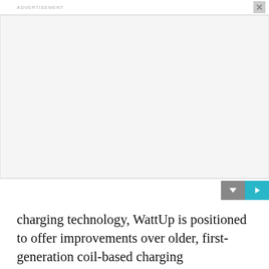ADVERTISEMENT
[Figure (other): Advertisement placeholder box, blank white/light gray area]
charging technology, WattUp is positioned to offer improvements over older, first-generation coil-based charging technologies in power, efficiency, foreign device detection, freedom of movement and